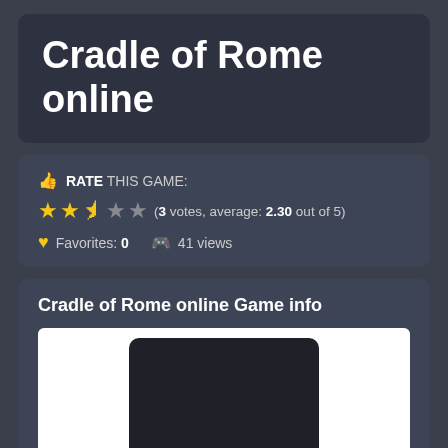Cradle of Rome online
RATE THIS GAME: ★★½☆☆ (3 votes, average: 2.30 out of 5) Favorites: 0  41 views
Cradle of Rome online Game info
[Figure (screenshot): Dark game preview thumbnail placeholder]